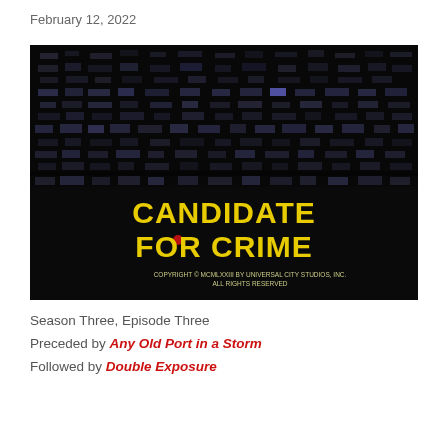February 12, 2022
[Figure (screenshot): Dark screenshot of a nighttime building with lit windows, overlaid with yellow bold text reading 'CANDIDATE FOR CRIME' and smaller text 'COPYRIGHT © MCMLXXIII BY UNIVERSAL CITY STUDIOS, INC. ALL RIGHTS RESERVED']
Season Three, Episode Three
Preceded by Any Old Port in a Storm
Followed by Double Exposure